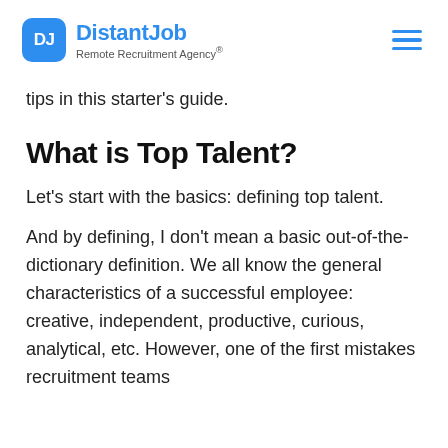DistantJob Remote Recruitment Agency®
tips in this starter's guide.
What is Top Talent?
Let's start with the basics: defining top talent.
And by defining, I don't mean a basic out-of-the-dictionary definition. We all know the general characteristics of a successful employee: creative, independent, productive, curious, analytical, etc. However, one of the first mistakes recruitment teams